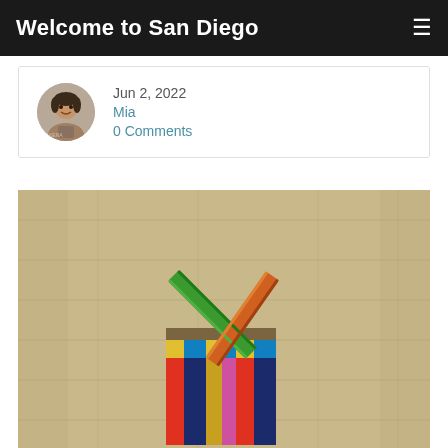Welcome to San Diego
Jun 2, 2022
Mia
0 Comments
[Figure (photo): A colorful toy house made from stacked wooden blocks and two diagonal colored sticks forming a roof shape, against a wooden board background.]